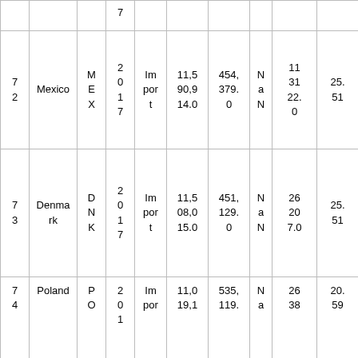|  |  |  |  |  |  |  |  |  |  |
| --- | --- | --- | --- | --- | --- | --- | --- | --- | --- |
|  |  |  | 7 |  |  |  |  |  |  |
| 7
2 | Mexico | M
E
X | 2
0
1
7 | Im
por
t | 11,5
90,9
14.0 | 454,
379.
0 | N
a
N | 11
31
22.
0 | 25.
51 |
| 7
3 | Denma
rk | D
N
K | 2
0
1
7 | Im
por
t | 11,5
08,0
15.0 | 451,
129.
0 | N
a
N | 26
20
7.0 | 25.
51 |
| 7
4 | Poland | P
O | 2
0
1 | Im
por | 11,0
19,1 | 535,
119. | N
a | 26
38 | 20.
59 |